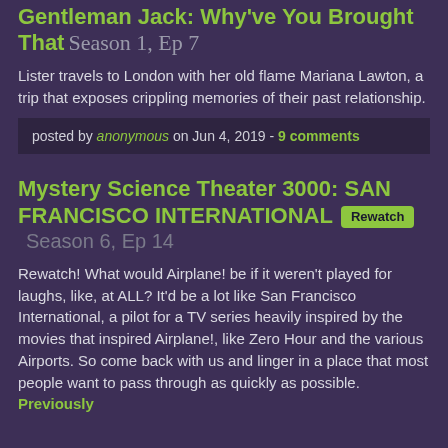Gentleman Jack: Why've You Brought That Season 1, Ep 7
Lister travels to London with her old flame Mariana Lawton, a trip that exposes crippling memories of their past relationship.
posted by anonymous on Jun 4, 2019 - 9 comments
Mystery Science Theater 3000: SAN FRANCISCO INTERNATIONAL Rewatch Season 6, Ep 14
Rewatch! What would Airplane! be if it weren't played for laughs, like, at ALL? It'd be a lot like San Francisco International, a pilot for a TV series heavily inspired by the movies that inspired Airplane!, like Zero Hour and the various Airports. So come back with us and linger in a place that most people want to pass through as quickly as possible. Previously